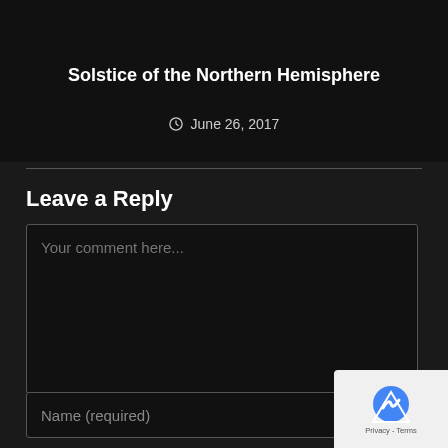Magick of the Week
Solstice of the Northern Hemisphere
June 26, 2017
Leave a Reply
Your comment here...
Name (required)